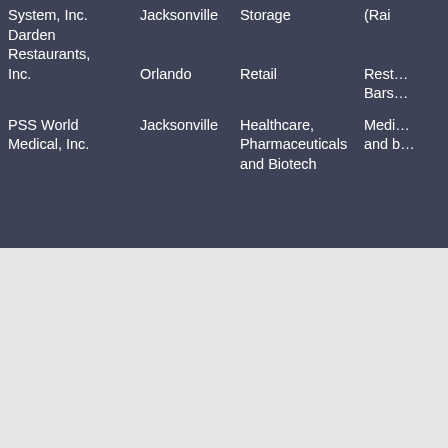| Company | Location | Industry | Description |
| --- | --- | --- | --- |
| System, Inc. | Jacksonville | Storage | (Rai… |
| Darden Restaurants, Inc. | Orlando | Retail | Rest… Bars… |
| PSS World Medical, Inc. | Jacksonville | Healthcare, Pharmaceuticals and Biotech | Medi… and b… |
TRAINING DETAILS
locations, tags and why hsg